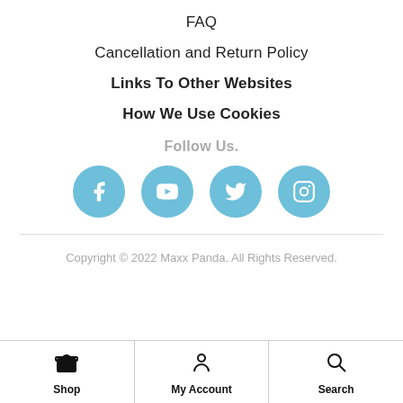FAQ
Cancellation and Return Policy
Links To Other Websites
How We Use Cookies
Follow Us.
[Figure (infographic): Four social media icons in blue circles: Facebook, YouTube, Twitter, Instagram]
Copyright © 2022 Maxx Panda. All Rights Reserved.
Shop | My Account | Search